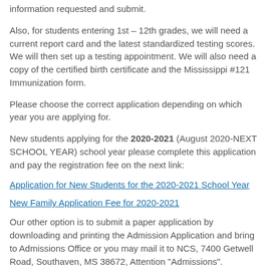information requested and submit.
Also, for students entering 1st – 12th grades, we will need a current report card and the latest standardized testing scores. We will then set up a testing appointment. We will also need a copy of the certified birth certificate and the Mississippi #121 Immunization form.
Please choose the correct application depending on which year you are applying for.
New students applying for the 2020-2021 (August 2020-NEXT SCHOOL YEAR) school year please complete this application and pay the registration fee on the next link:
Application for New Students for the 2020-2021 School Year
New Family Application Fee for 2020-2021
Our other option is to submit a paper application by downloading and printing the Admission Application and bring to Admissions Office or you may mail it to NCS, 7400 Getwell Road, Southaven, MS 38672, Attention "Admissions".